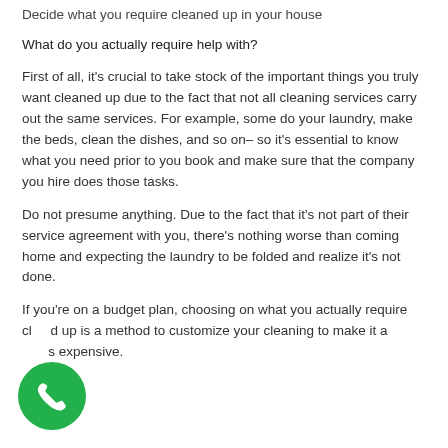Decide what you require cleaned up in your house
What do you actually require help with?
First of all, it's crucial to take stock of the important things you truly want cleaned up due to the fact that not all cleaning services carry out the same services. For example, some do your laundry, make the beds, clean the dishes, and so on– so it's essential to know what you need prior to you book and make sure that the company you hire does those tasks.
Do not presume anything. Due to the fact that it's not part of their service agreement with you, there's nothing worse than coming home and expecting the laundry to be folded and realize it's not done.
If you're on a budget plan, choosing on what you actually require cleaned up is a method to customize your cleaning to make it a less expensive.
[Figure (other): Green circular phone/call button icon in the bottom-left corner]